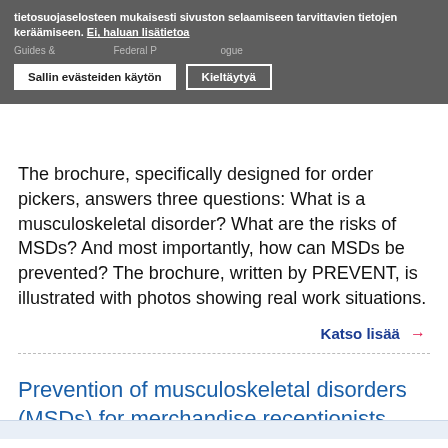tietosuojaselosteen mukaisesti sivuston selaamiseen tarvittavien tietojen keräämiseen. Ei, haluan lisätietoa
Guides & ... Federal P... ...ogue
Sallin evästeiden käytön   Kieltäytyä
The brochure, specifically designed for order pickers, answers three questions: What is a musculoskeletal disorder? What are the risks of MSDs? And most importantly, how can MSDs be prevented? The brochure, written by PREVENT, is illustrated with photos showing real work situations.
Katso lisää →
Prevention of musculoskeletal disorders (MSDs) for merchandise receptionists